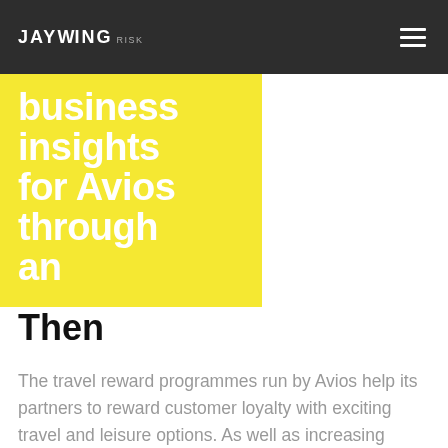JAYWING RISK
business insights for Avios through an
Then
The travel reward programmes run by Avios help its partners to reward customer loyalty with exciting travel and leisure options. As well as increasing